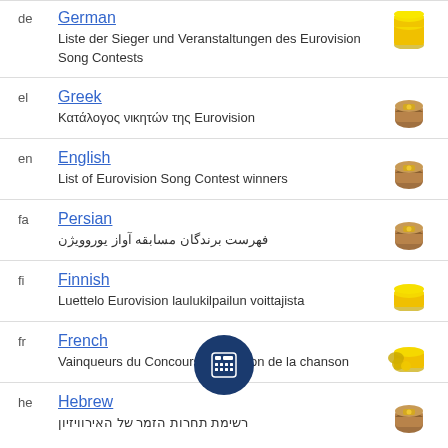de German — Liste der Sieger und Veranstaltungen des Eurovision Song Contests
el Greek — Κατάλογος νικητών της Eurovision
en English — List of Eurovision Song Contest winners
fa Persian — فهرست برندگان مسابقه آواز یوروویژن
fi Finnish — Luettelo Eurovision laulukilpailun voittajista
fr French — Vainqueurs du Concours Eurovision de la chanson
he Hebrew — רשימת תחרות הזמר של האירוויזיון